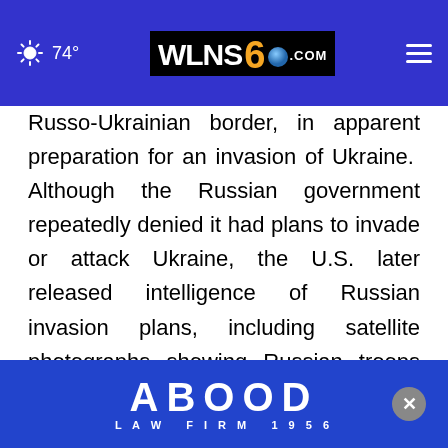74° WLNS6.COM [navigation header]
Russo-Ukrainian border, in apparent preparation for an invasion of Ukraine. Although the Russian government repeatedly denied it had plans to invade or attack Ukraine, the U.S. later released intelligence of Russian invasion plans, including satellite photographs showing Russian troops and equipment near the Russo-Ukrainian border.
In November 2021, as Russia's military buildup on th[e]..., the Comp[any entered the Scrutinization D-all]
[Figure (logo): Abood Law Firm 1956 advertisement banner in blue with white bold text]